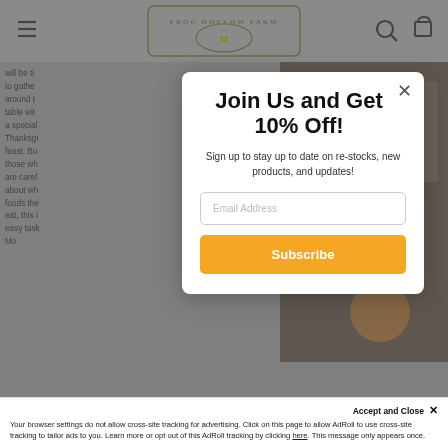[Figure (logo): Frog Hollow Farm logo with decorative banner and frog illustration]
will be ti... to gathe... around t... table wit... a special... Thanksgi... feast. Bu... those wh... are caref... about wh... foods the... eat, this i... easy task... Mo...
[Figure (photo): Food/table setting photo on right side]
Join Us and Get 10% Off!
Sign up to stay up to date on re-stocks, new products, and updates!
Email Address
Subscribe
Accept and Close ✕
Your browser settings do not allow cross-site tracking for advertising. Click on this page to allow AdRoll to use cross-site tracking to tailor ads to you. Learn more or opt out of this AdRoll tracking by clicking here. This message only appears once.